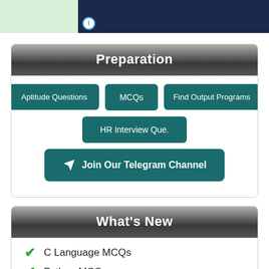[Figure (screenshot): Top banner with dark blue background and info icon on a light green background]
Preparation
Aptitude Questions
MCQs
Find Output Programs
HR Interview Que.
Join Our Telegram Channel
What's New
C Language MCQs
Python MCQs
Perl MCQs
MongoDB MCQs